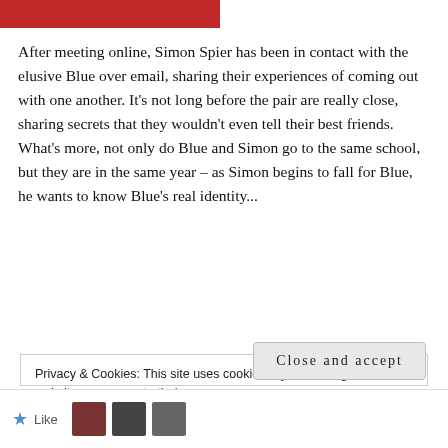[Figure (photo): Partial red banner/image at top left]
After meeting online, Simon Spier has been in contact with the elusive Blue over email, sharing their experiences of coming out with one another. It's not long before the pair are really close, sharing secrets that they wouldn't even tell their best friends. What's more, not only do Blue and Simon go to the same school, but they are in the same year – as Simon begins to fall for Blue, he wants to know Blue's real identity...
Privacy & Cookies: This site uses cookies. By continuing to use this website, you agree to their use.
To find out more, including how to control cookies, see here: Cookie Policy
Close and accept